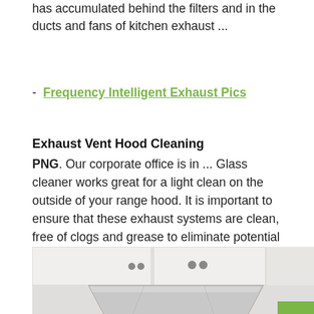has accumulated behind the filters and in the ducts and fans of kitchen exhaust ...
- Frequency Intelligent Exhaust Pics
Exhaust Vent Hood Cleaning
PNG. Our corporate office is in ... Glass cleaner works great for a light clean on the outside of your range hood. It is important to ensure that these exhaust systems are clean, free of clogs and grease to eliminate potential damage from fire accidents.
[Figure (photo): Kitchen range hood / exhaust vent hood mounted under white cabinets, stainless steel]